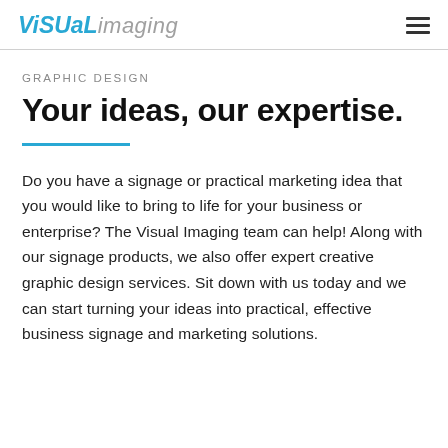ViSUaLimaging
GRAPHIC DESIGN
Your ideas, our expertise.
Do you have a signage or practical marketing idea that you would like to bring to life for your business or enterprise? The Visual Imaging team can help! Along with our signage products, we also offer expert creative graphic design services. Sit down with us today and we can start turning your ideas into practical, effective business signage and marketing solutions.